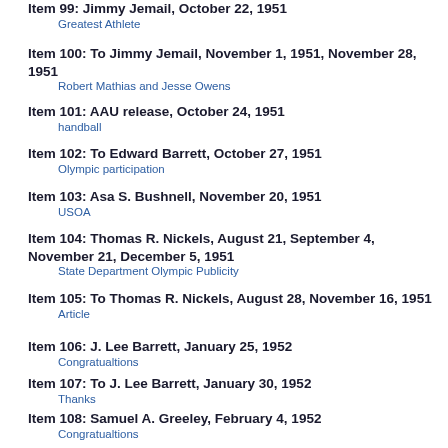Item 99: Jimmy Jemail, October 22, 1951
    Greatest Athlete
Item 100: To Jimmy Jemail, November 1, 1951, November 28, 1951
    Robert Mathias and Jesse Owens
Item 101: AAU release, October 24, 1951
    handball
Item 102: To Edward Barrett, October 27, 1951
    Olympic participation
Item 103: Asa S. Bushnell, November 20, 1951
    USOA
Item 104: Thomas R. Nickels, August 21, September 4, November 21, December 5, 1951
    State Department Olympic Publicity
Item 105: To Thomas R. Nickels, August 28, November 16, 1951
    Article
Item 106: J. Lee Barrett, January 25, 1952
    Congratualtions
Item 107: To J. Lee Barrett, January 30, 1952
    Thanks
Item 108: Samuel A. Greeley, February 4, 1952
    Congratualtions